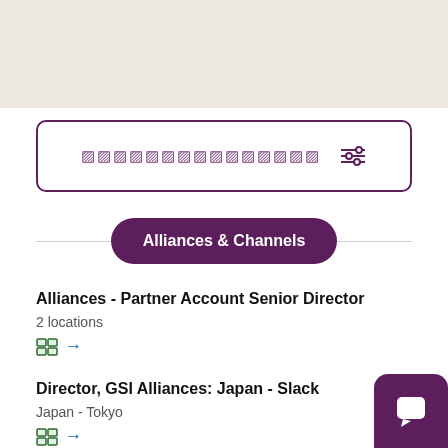[Figure (screenshot): Top beige/cream colored bar area]
[Figure (screenshot): Search box with placeholder text and filter icon, bordered in purple]
Alliances & Channels
Alliances - Partner Account Senior Director
2 locations
Director, GSI Alliances: Japan - Slack
Japan - Tokyo